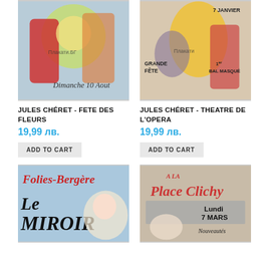[Figure (illustration): Jules Chéret - Fete des Fleurs vintage French poster showing woman with flowers, text 'Dimanche 10 Aout', watermark 'Плакати.БГ']
[Figure (illustration): Jules Chéret - Theatre de l'Opera vintage French poster showing dancers, text 'Grande Fête', '1er Bal Masqué', '7 Janvier', watermark 'Плакати']
JULES CHÉRET - FETE DES FLEURS
JULES CHÉRET - THEATRE DE L'OPERA
19,99 лв.
19,99 лв.
ADD TO CART
ADD TO CART
[Figure (illustration): Jules Chéret - Folies-Bergère Le Miroir vintage French poster with 'Folies-Bergère' in red text and 'Le Miroir' in large black letters]
[Figure (illustration): Jules Chéret - A La Place Clichy vintage French poster with text 'A La Place Clichy', 'Lundi 7 Mars', 'Nouveautés']